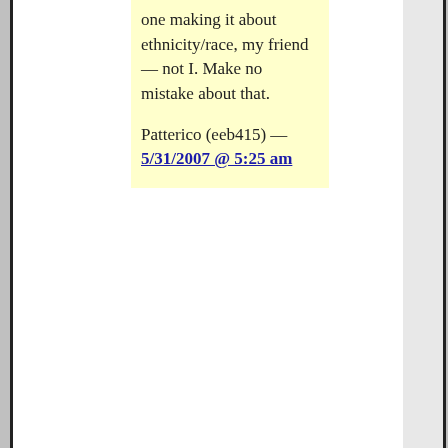one making it about ethnicity/race, my friend — not I. Make no mistake about that.
Patterico (eeb415) — 5/31/2007 @ 5:25 am
12. Would her parents have a case in a wrongful death suit?

Would the DA have a case against those who saw to it the Sanctuary rules were in